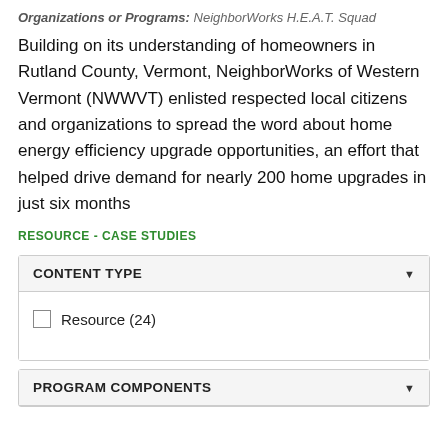Organizations or Programs:  NeighborWorks H.E.A.T. Squad
Building on its understanding of homeowners in Rutland County, Vermont, NeighborWorks of Western Vermont (NWWVT) enlisted respected local citizens and organizations to spread the word about home energy efficiency upgrade opportunities, an effort that helped drive demand for nearly 200 home upgrades in just six months
RESOURCE - CASE STUDIES
CONTENT TYPE
Resource (24)
PROGRAM COMPONENTS